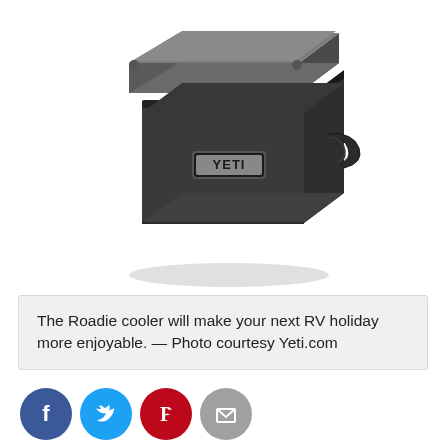[Figure (photo): A dark charcoal/grey YETI Roadie cooler with a grey lid and YETI logo badge on the front, shown in a 3/4 perspective view with a side handle.]
The Roadie cooler will make your next RV holiday more enjoyable. — Photo courtesy Yeti.com
[Figure (infographic): Four social sharing icons in circles: Facebook (dark blue, 'f'), Twitter (light blue, bird), Pinterest (red, 'P' logo), Email (grey, envelope)]